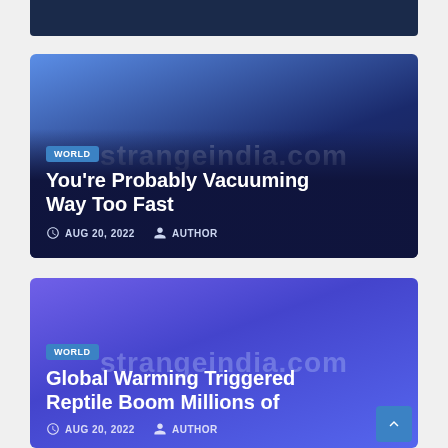[Figure (screenshot): Dark navy blue card (partially visible at top of page)]
[Figure (screenshot): Article card with gradient background (dark blue/purple). Contains WORLD badge, title 'You're Probably Vacuuming Way Too Fast', date AUG 20, 2022 and AUTHOR. Watermark: strangeindia.com]
[Figure (screenshot): Article card with blue/violet gradient background. Contains WORLD badge, title 'Global Warming Triggered Reptile Boom Millions of', date and AUTHOR partially visible. Watermark: strangeindia.com. Scroll-to-top button at bottom right.]